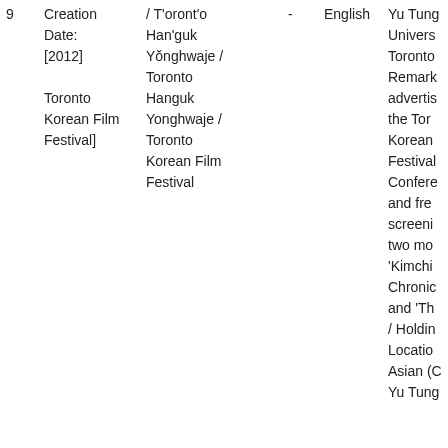| # | Creation Date | Title | - | Language | Remarks |
| --- | --- | --- | --- | --- | --- |
| 9 | Creation Date: [2012] | Toronto Korean Film Festival] / T'oront'o Han'guk Yŏnghwaje / Toronto Hanguk Yonghwaje / Toronto Korean Film Festival | - | English | Yu Tung University Toronto Remarks: advertising the Toronto Korean Film Festival Conference and free screening two mo 'Kimchi Chronicles and 'Th / Holdin Location: Asian (C Yu Tung |